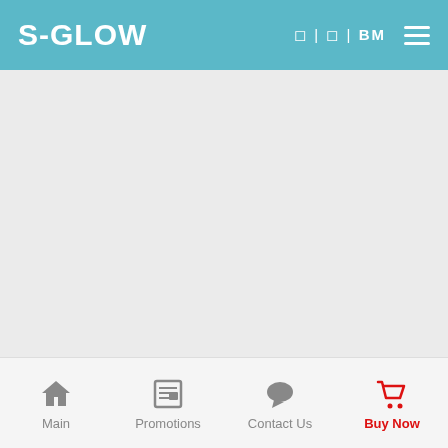S-GLOW | BM
[Figure (screenshot): Main content area - light gray blank area]
Main | Promotions | Contact Us | Buy Now